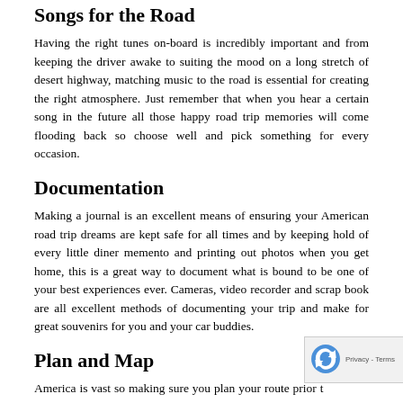Songs for the Road
Having the right tunes on-board is incredibly important and from keeping the driver awake to suiting the mood on a long stretch of desert highway, matching music to the road is essential for creating the right atmosphere. Just remember that when you hear a certain song in the future all those happy road trip memories will come flooding back so choose well and pick something for every occasion.
Documentation
Making a journal is an excellent means of ensuring your American road trip dreams are kept safe for all times and by keeping hold of every little diner memento and printing out photos when you get home, this is a great way to document what is bound to be one of your best experiences ever. Cameras, video recorder and scrap book are all excellent methods of documenting your trip and make for great souvenirs for you and your car buddies.
Plan and Map
America is vast so making sure you plan your route prior to leaving home is definitely key to success. Plot out the road on a map and carrying a GPS tracking device and then you'll be able to rely on a co-driver just in case technology lets you down. Ensuring you're not